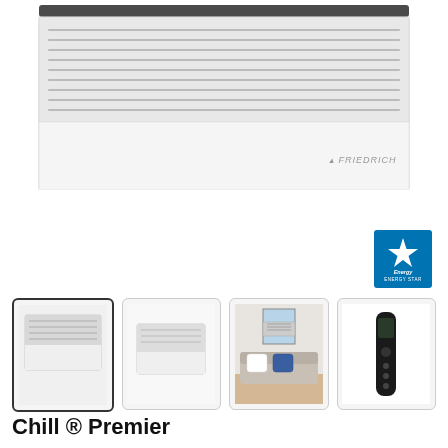[Figure (photo): Front view of a Friedrich Chill Premier window air conditioner unit, white with horizontal louver grilles on top and Friedrich logo on lower right]
[Figure (logo): Energy Star certification logo badge, blue with star and text ENERGY STAR]
[Figure (photo): Thumbnail 1: Front angled view of Friedrich Chill Premier window AC unit (selected, with dark border)]
[Figure (photo): Thumbnail 2: Side angled view of Friedrich Chill Premier window AC unit]
[Figure (photo): Thumbnail 3: Lifestyle photo showing air conditioner installed in a window above a sofa in a bright room]
[Figure (photo): Thumbnail 4: Friedrich remote control, slim black design]
Chill ® Premier